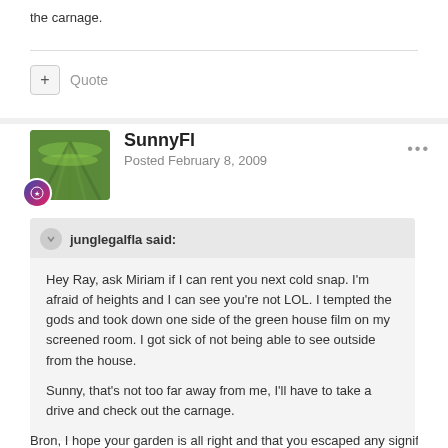the carnage.
+ Quote
SunnyFl
Posted February 8, 2009
junglegalfla said:
Hey Ray, ask Miriam if I can rent you next cold snap. I'm afraid of heights and I can see you're not LOL. I tempted the gods and took down one side of the green house film on my screened room. I got sick of not being able to see outside from the house.

Sunny, that's not too far away from me, I'll have to take a drive and check out the carnage.
Bron, I hope your garden is all right and that you escaped any significant